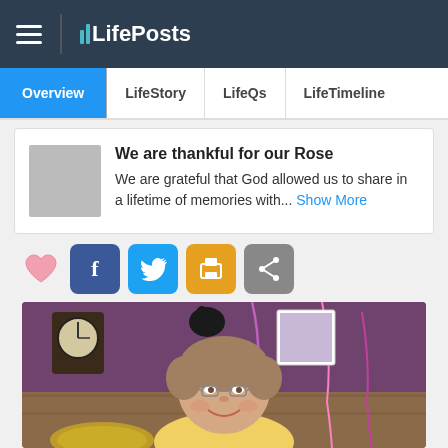LifePosts
Overview | LifeStory | LifeQs | LifeTimeline
We are thankful for our Rose
We are grateful that God allowed us to share in a lifetime of memories with... Show More
[Figure (screenshot): Social sharing buttons: heart, Facebook, Twitter, print, share]
[Figure (photo): Elderly woman smiling at a party with purple decorations and streamers]